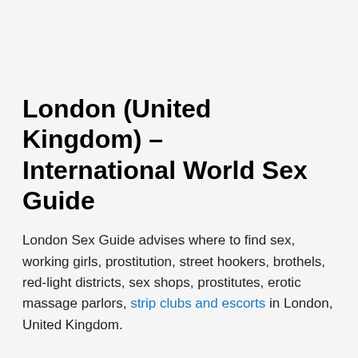London (United Kingdom) – International World Sex Guide
London Sex Guide advises where to find sex, working girls, prostitution, street hookers, brothels, red-light districts, sex shops, prostitutes, erotic massage parlors, strip clubs and escorts in London, United Kingdom.